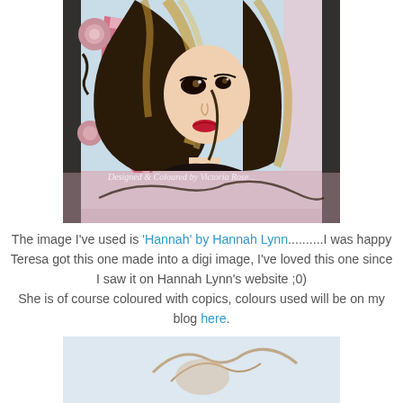[Figure (illustration): A hand-drawn and coloured illustration of a young woman with long dark brown and blonde highlighted hair, large eyes, red lips, wearing a black top. The background includes a pink striped candy cane element, pink roses, and a decorative frame with glitter. A watermark reads 'Designed & Coloured by Victoria Rose...']
The image I've used is 'Hannah' by Hannah Lynn..........I was happy Teresa got this one made into a digi image, I've loved this one since I saw it on Hannah Lynn's website ;0)
She is of course coloured with copics, colours used will be on my blog here.
[Figure (illustration): Partial view of a second illustration showing what appears to be a bird or mermaid-like figure on a light blue background, only the top portion is visible.]